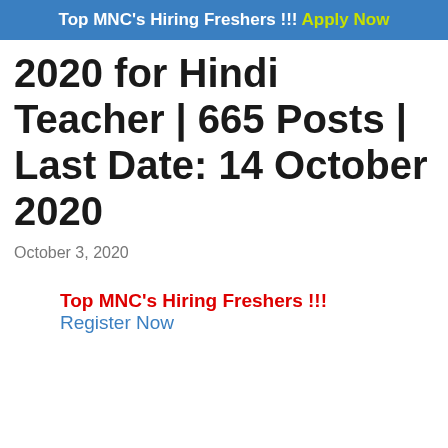Top MNC's Hiring Freshers !!! Apply Now
2020 for Hindi Teacher | 665 Posts | Last Date: 14 October 2020
October 3, 2020
Top MNC's Hiring Freshers !!! Register Now